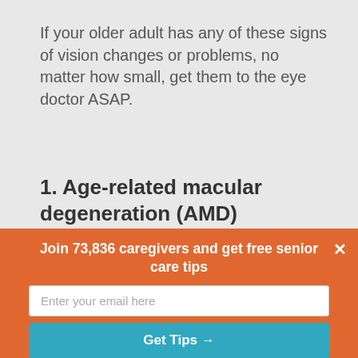If your older adult has any of these signs of vision changes or problems, no matter how small, get them to the eye doctor ASAP.
1. Age-related macular degeneration (AMD)
[Figure (photo): Split image showing normal vision vs. macular degeneration vision of an outdoor scene with buildings and a flagpole. Left half is clear, right half is blurred in the center.]
Join 73,836 caregivers and get free senior care tips
Enter your email here
Get Tips →